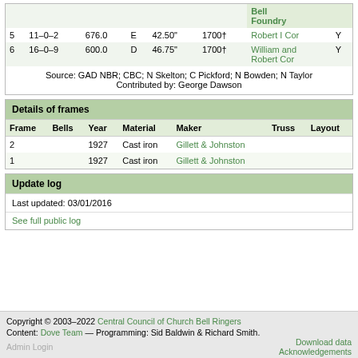|  |  |  |  |  |  | Bell Foundry |  |
| --- | --- | --- | --- | --- | --- | --- | --- |
| 5 | 11–0–2 | 676.0 | E | 42.50" | 1700† | Robert I Cor | Y |
| 6 | 16–0–9 | 600.0 | D | 46.75" | 1700† | William and Robert Cor | Y |
Source: GAD NBR; CBC; N Skelton; C Pickford; N Bowden; N Taylor
Contributed by: George Dawson
Details of frames
| Frame | Bells | Year | Material | Maker | Truss | Layout |
| --- | --- | --- | --- | --- | --- | --- |
| 2 |  | 1927 | Cast iron | Gillett & Johnston |  |  |
| 1 |  | 1927 | Cast iron | Gillett & Johnston |  |  |
Update log
Last updated: 03/01/2016
See full public log
Copyright © 2003–2022 Central Council of Church Bell Ringers
Content: Dove Team — Programming: Sid Baldwin & Richard Smith.
Download data
Acknowledgements
Admin Login